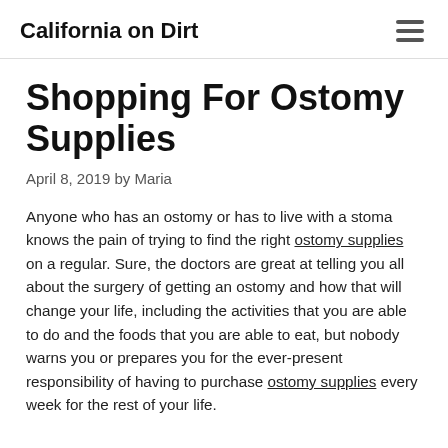California on Dirt
Shopping For Ostomy Supplies
April 8, 2019 by Maria
Anyone who has an ostomy or has to live with a stoma knows the pain of trying to find the right ostomy supplies on a regular. Sure, the doctors are great at telling you all about the surgery of getting an ostomy and how that will change your life, including the activities that you are able to do and the foods that you are able to eat, but nobody warns you or prepares you for the ever-present responsibility of having to purchase ostomy supplies every week for the rest of your life.